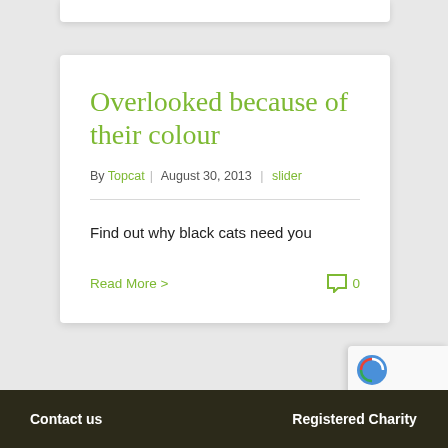Overlooked because of their colour
By Topcat | August 30, 2013 | slider
Find out why black cats need you
Read More > 0
Contact us    Registered Charity